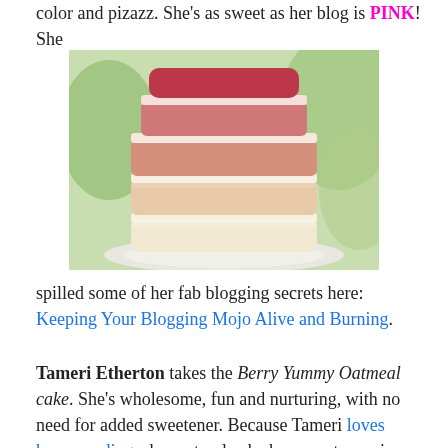color and pizazz. She's as sweet as her blog is PINK! She
[Figure (photo): A stacked layered cake with gradient colors from dark red/pink at top to pale yellow/white at bottom, with cream frosting between layers, on a white plate with green foliage in background.]
spilled some of her fab blogging secrets here: Keeping Your Blogging Mojo Alive and Burning.
Tameri Etherton takes the Berry Yummy Oatmeal cake. She's wholesome, fun and nurturing, with no need for added sweetener. Because Tameri loves happy endings, her natural cake has sweet surprises inside.